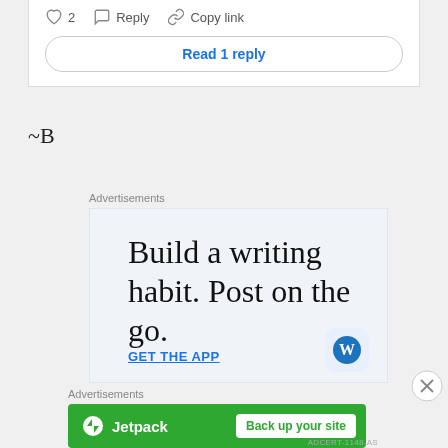2  Reply  Copy link
Read 1 reply
~B
Advertisements
[Figure (illustration): Advertisement banner with text 'Build a writing habit. Post on the go.' with GET THE APP link and WordPress logo icon, on a light blue background.]
[Figure (illustration): Close button (X circle) on the right side.]
Advertisements
[Figure (illustration): Jetpack advertisement banner in green with Jetpack logo on left and 'Back up your site' button on right.]